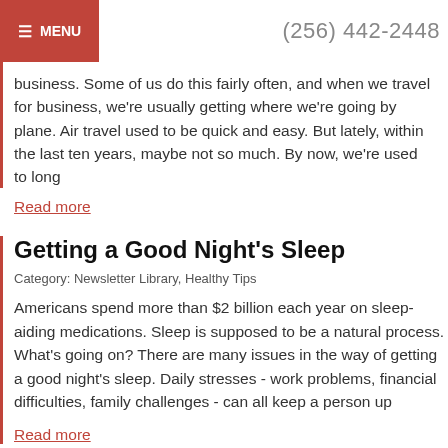≡ MENU   (256) 442-2448
business. Some of us do this fairly often, and when we travel for business, we're usually getting where we're going by plane. Air travel used to be quick and easy. But lately, within the last ten years, maybe not so much. By now, we're used to long
Read more
Getting a Good Night's Sleep
Category: Newsletter Library, Healthy Tips
Americans spend more than $2 billion each year on sleep-aiding medications. Sleep is supposed to be a natural process. What's going on? There are many issues in the way of getting a good night's sleep. Daily stresses - work problems, financial difficulties, family challenges - can all keep a person up
Read more